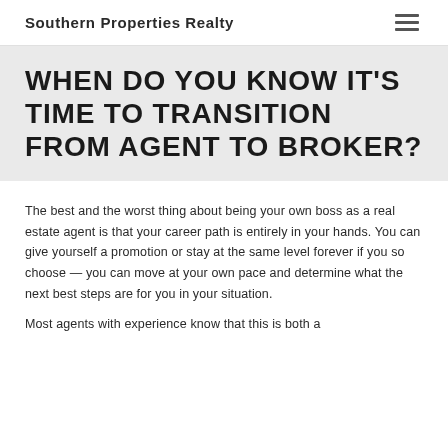Southern Properties Realty
WHEN DO YOU KNOW IT'S TIME TO TRANSITION FROM AGENT TO BROKER?
The best and the worst thing about being your own boss as a real estate agent is that your career path is entirely in your hands. You can give yourself a promotion or stay at the same level forever if you so choose — you can move at your own pace and determine what the next best steps are for you in your situation.
Most agents with experience know that this is both a